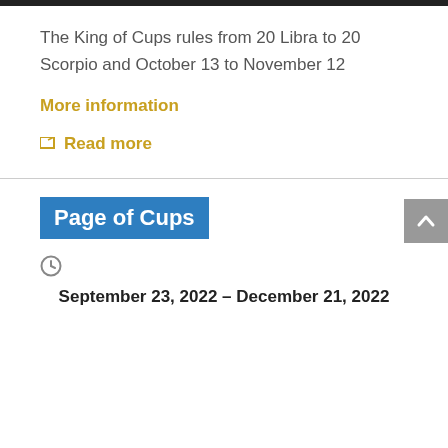The King of Cups rules from 20 Libra to 20 Scorpio and October 13 to November 12
More information
Read more
Page of Cups
September 23, 2022 – December 21, 2022